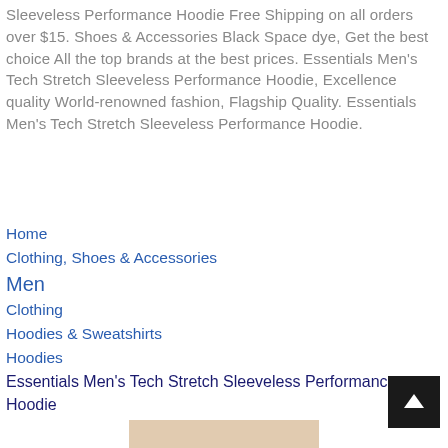Sleeveless Performance Hoodie Free Shipping on all orders over $15. Shoes & Accessories Black Space dye, Get the best choice All the top brands at the best prices. Essentials Men's Tech Stretch Sleeveless Performance Hoodie, Excellence quality World-renowned fashion, Flagship Quality. Essentials Men's Tech Stretch Sleeveless Performance Hoodie.
Home
Clothing, Shoes & Accessories
Men
Clothing
Hoodies & Sweatshirts
Hoodies
Essentials Men's Tech Stretch Sleeveless Performance Hoodie